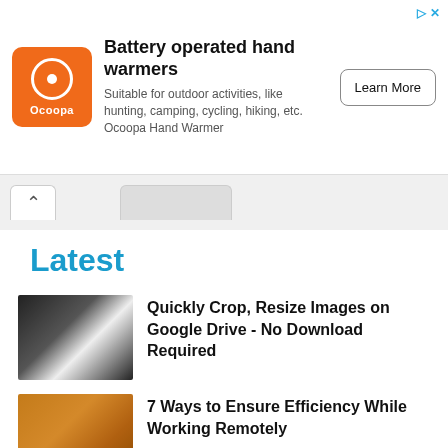[Figure (infographic): Ocoopa brand advertisement banner with orange logo, headline 'Battery operated hand warmers', description text, and Learn More button]
Latest
[Figure (photo): Dark photo showing image editing software interface with a person in white shirt]
Quickly Crop, Resize Images on Google Drive - No Download Required
[Figure (photo): Photo of person wearing orange sweater working on laptop with watch visible]
7 Ways to Ensure Efficiency While Working Remotely
[Figure (screenshot): Dark screenshot of Yahoo email mobile interface]
How To: Enable Yahoo Email Forwarding Without PRO Account